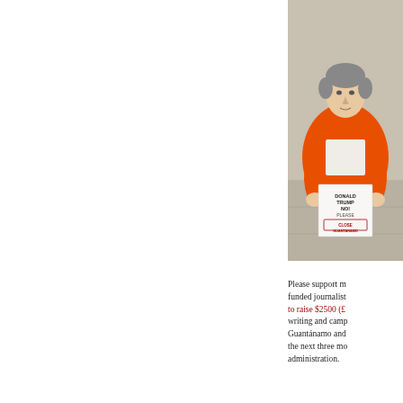[Figure (photo): A man wearing an orange jacket and holding a sign that reads 'DONALD TRUMP NO! PLEASE CLOSE GUANTANAMO', standing outdoors in front of a stone building.]
Please support my crowd-funded journalism. I'm trying to raise $2500 (£2000) for writing and campaigning about Guantánamo and the new Trump administration over the next three months of the new Trump administration.